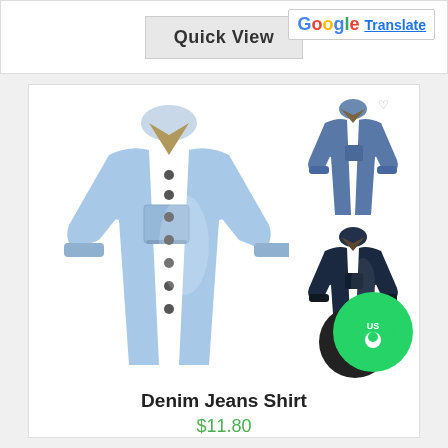[Figure (screenshot): Quick View button in gray and Google Translate button/badge in top bar]
[Figure (photo): Product listing for a Denim Jeans Shirt showing a large main image of a light blue denim shirt and two thumbnail variants (medium blue and dark navy). A green chat/WhatsApp bubble icon is visible in the lower right corner.]
Denim Jeans Shirt
$11.80